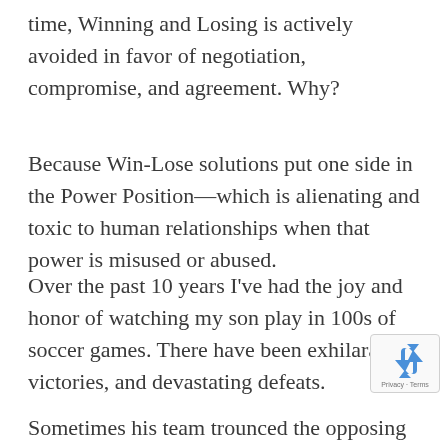time, Winning and Losing is actively avoided in favor of negotiation, compromise, and agreement. Why?
Because Win-Lose solutions put one side in the Power Position—which is alienating and toxic to human relationships when that power is misused or abused.
Over the past 10 years I've had the joy and honor of watching my son play in 100s of soccer games. There have been exhilarating victories, and devastating defeats.
Sometimes his team trounced the opposing